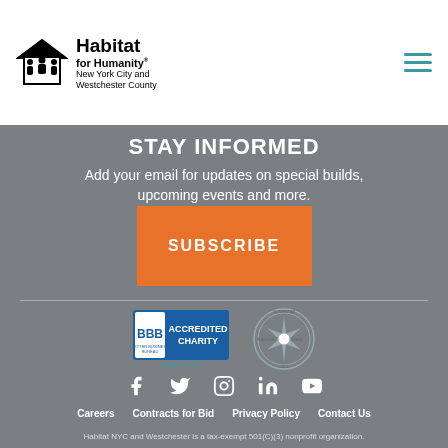[Figure (logo): Habitat for Humanity New York City and Westchester County logo with house icon]
STAY INFORMED
Add your email for updates on special builds, upcoming events and more.
SUBSCRIBE
[Figure (logo): BBB Accredited Charity seal with ny.give.org link]
[Figure (logo): Guidestar Platinum Transparency 2021 seal]
[Figure (illustration): Social media icons: Facebook, Twitter, Instagram, LinkedIn, YouTube]
Careers   Contracts for Bid   Privacy Policy   Contact Us
Habitat NYC and Westchester is a tax-exempt 501(C)(3) nonprofit organization.